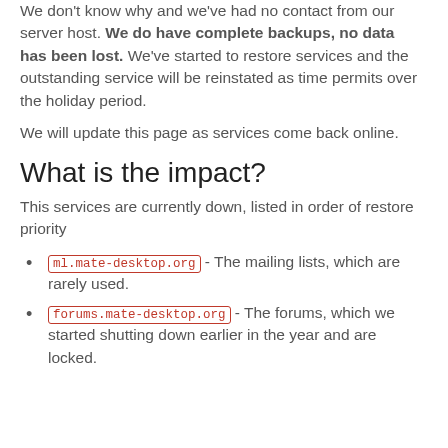We don't know why and we've had no contact from our server host. We do have complete backups, no data has been lost. We've started to restore services and the outstanding service will be reinstated as time permits over the holiday period.
We will update this page as services come back online.
What is the impact?
This services are currently down, listed in order of restore priority
ml.mate-desktop.org - The mailing lists, which are rarely used.
forums.mate-desktop.org - The forums, which we started shutting down earlier in the year and are locked.